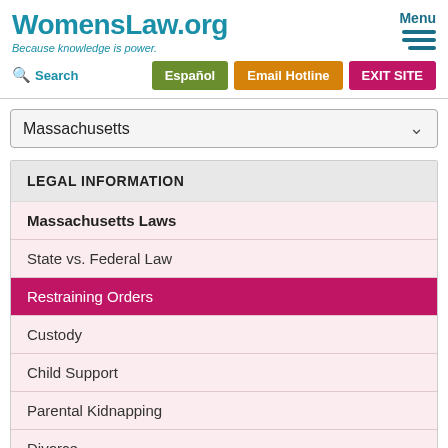WomensLaw.org — Because knowledge is power.
Menu
Search | Español | Email Hotline | EXIT SITE
Massachusetts (dropdown)
LEGAL INFORMATION
Massachusetts Laws
State vs. Federal Law
Restraining Orders
Custody
Child Support
Parental Kidnapping
Divorce